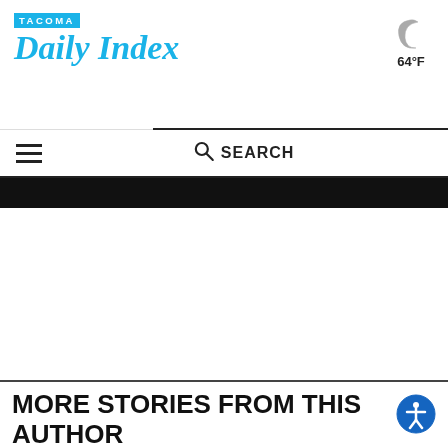TACOMA Daily Index
64°F
☰  🔍 SEARCH
[Figure (photo): Dark banner image strip]
MORE STORIES FROM THIS AUTHOR